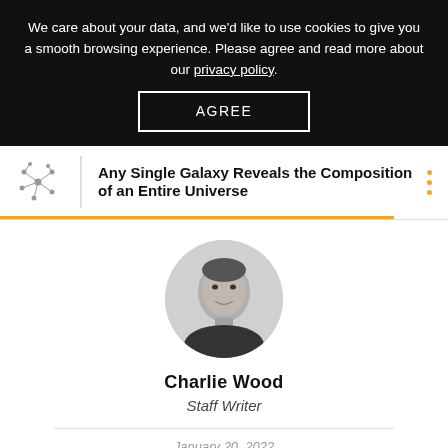We care about your data, and we'd like to use cookies to give you a smooth browsing experience. Please agree and read more about our privacy policy.
AGREE
Any Single Galaxy Reveals the Composition of an Entire Universe
[Figure (logo): Quanta Magazine molecule/network logo icon in gray dots]
[Figure (photo): Black and white circular headshot photo of Charlie Wood, a man smiling, wearing a dark sweater]
Charlie Wood
Staff Writer
January 20, 2022